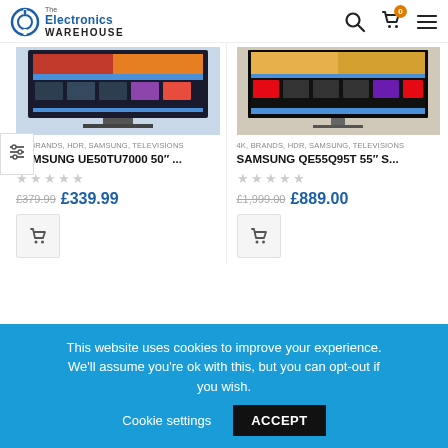The Electronics Warehouse — header with logo, search, cart (0), menu
[Figure (photo): Samsung UE50TU7000 50" TV product image]
[Figure (photo): Samsung QE55Q95T 55" TV product image]
4K, BRANDS, HDR, SAMSUNG, TELEVISIONS
SAMSUNG UE50TU7000 50"...
★★★★★ (empty stars)
£379.99 £339.99
4K, BRANDS, HDR, SAMSUNG, TELEVISIONS
SAMSUNG QE55Q95T 55" S...
★★★★★ (empty stars)
£1,999.00 £889.00
This website uses cookies to improve your experience. We'll assume you're ok with this, but you can opt-out if you wish. Cookie settings ACCEPT